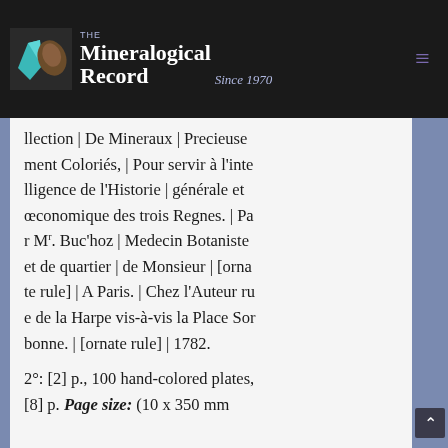The Mineralogical Record Since 1970
llection | De Mineraux | Precieusement Coloriés, | Pour servir à l'intelligence de l'Historie | générale et œconomique des trois Regnes. | Par Mʳ. Buc'hoz | Medecin Botaniste et de quartier | de Monsieur | [ornate rule] | A Paris. | Chez l'Auteur rue de la Harpe vis-à-vis la Place Sorbonne. | [ornate rule] | 1782.
2°: [2] p., 100 hand-colored plates, [8] p. Page size: (10 x 350 mm